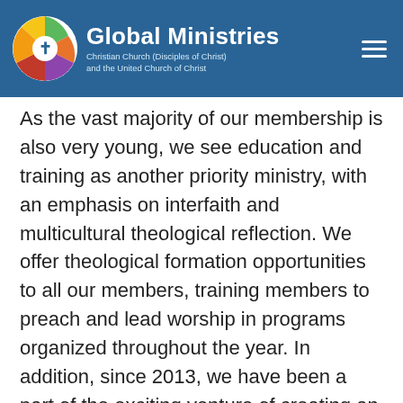Global Ministries — Christian Church (Disciples of Christ) and the United Church of Christ
As the vast majority of our membership is also very young, we see education and training as another priority ministry, with an emphasis on interfaith and multicultural theological reflection. We offer theological formation opportunities to all our members, training members to preach and lead worship in programs organized throughout the year. In addition, since 2013, we have been a part of the exciting venture of creating an Ecumenical Theological Institute, offering high-quality, university-level theological education for our pastoral interns and others who desire to